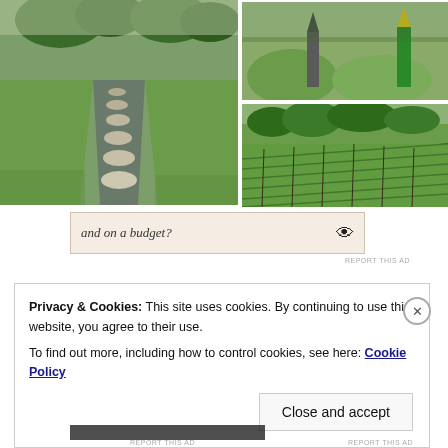[Figure (photo): Left large photo: garden path with stepping stones in a narrow water channel, flanked by green lawn and trees]
[Figure (photo): Top right photo: outdoor sculpture or art installation with green mounds]
[Figure (photo): Bottom right photo: vineyard rows on a hillside with green vegetation]
and on a budget?
REPORT THIS AD
Privacy & Cookies: This site uses cookies. By continuing to use this website, you agree to their use.
To find out more, including how to control cookies, see here: Cookie Policy
Close and accept